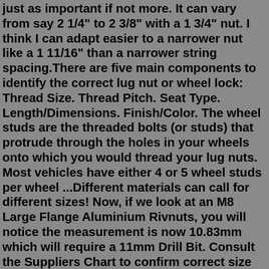just as important if not more. It can vary from say 2 1/4" to 2 3/8" with a 1 3/4" nut. I think I can adapt easier to a narrower nut like a 1 11/16" than a narrower string spacing.There are five main components to identify the correct lug nut or wheel lock: Thread Size. Thread Pitch. Seat Type. Length/Dimensions. Finish/Color. The wheel studs are the threaded bolts (or studs) that protrude through the holes in your wheels onto which you would thread your lug nuts. Most vehicles have either 4 or 5 wheel studs per wheel ...Different materials can call for different sizes! Now, if we look at an M8 Large Flange Aluminium Rivnuts, you will notice the measurement is now 10.83mm which will require a 11mm Drill Bit. Consult the Suppliers Chart to confirm correct size hole for drilling. Measure the Rivnut at the largest part under the head to get closest measurement.Hex Nut Dimensions. The following table of hex nut dimensions was adapted from ASME B18.2.2, Table 1-1, "Dimensions of Square and Hex Machine Screw Nuts." This table is used for smaller size hardware.